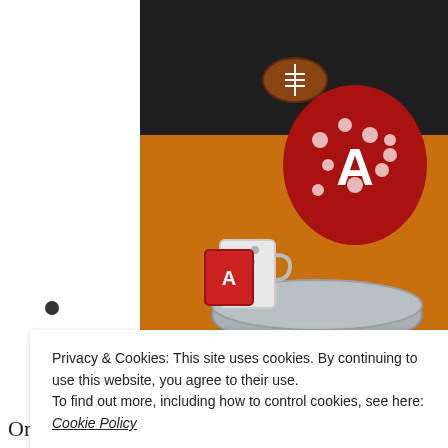[Figure (photo): A tiered galvanized metal tray decorated with Alabama Crimson Tide football themed items including a polka dot ornament with the letter A, a glittery red A ornament, a Sweet Home Alabama circular sign, a cup of popcorn, and other red and white decorations, set on an orange and beige surface against a dark background.]
Privacy & Cookies: This site uses cookies. By continuing to use this website, you agree to their use.
To find out more, including how to control cookies, see here: Cookie Policy
Close and accept
One side is Alabama Football and one side